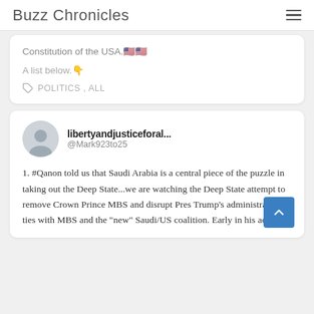Buzz Chronicles
Constitution of the USA.🇺🇸🇺🇸
A list below.👇
POLITICS , ALL
libertyandjusticeforal...
@Mark923to25
1. #Qanon told us that Saudi Arabia is a central piece of the puzzle in taking out the Deep State...we are watching the Deep State attempt to remove Crown Prince MBS and disrupt Pres Trump's administration's ties with MBS and the "new" Saudi/US coalition. Early in his admin,